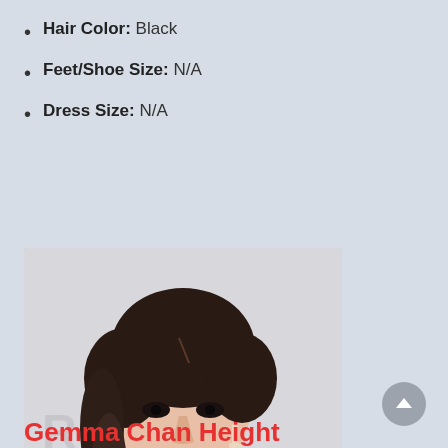Hair Color: Black
Feet/Shoe Size: N/A
Dress Size: N/A
[Figure (photo): Portrait photo of a young Asian woman with dark upswept hair wearing crystal drop earrings and a pink one-shoulder dress with a floral bow detail, photographed at what appears to be a red carpet event]
Gemma Chan Height